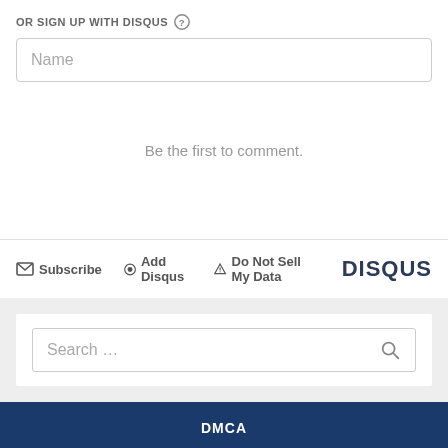OR SIGN UP WITH DISQUS
[Figure (screenshot): Name input field text box]
Be the first to comment.
Subscribe  Add Disqus  Do Not Sell My Data  DISQUS
[Figure (screenshot): Search input field with search icon]
DMCA